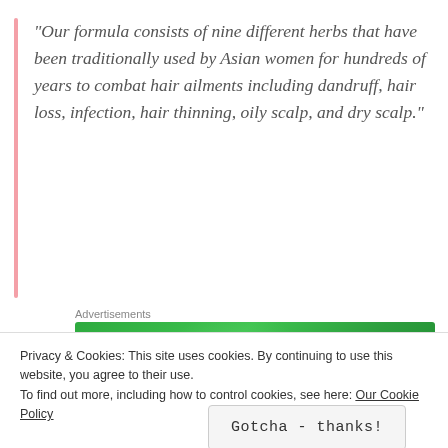“Our formula consists of nine different herbs that have been traditionally used by Asian women for hundreds of years to combat hair ailments including dandruff, hair loss, infection, hair thinning, oily scalp, and dry scalp.”
Advertisements
[Figure (other): Jetpack advertisement banner with green background showing Jetpack logo and 'Back up your site' button]
REPORT THIS AD
If you happened to have read my Function of Beauty
Privacy & Cookies: This site uses cookies. By continuing to use this website, you agree to their use.
To find out more, including how to control cookies, see here: Our Cookie Policy
Gotcha - thanks!